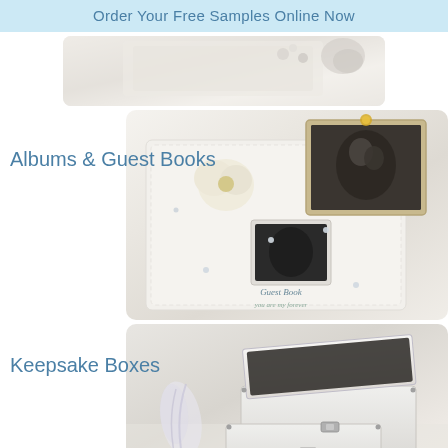Order Your Free Samples Online Now
[Figure (photo): Partial top view of wedding stationery or accessories on white background]
Albums & Guest Books
[Figure (photo): White wedding guest book with photo frame insert, floral decoration, and crystal embellishments]
Keepsake Boxes
[Figure (photo): Two white metallic keepsake boxes with clasp closures, one open and one closed, with wedding ribbon decoration]